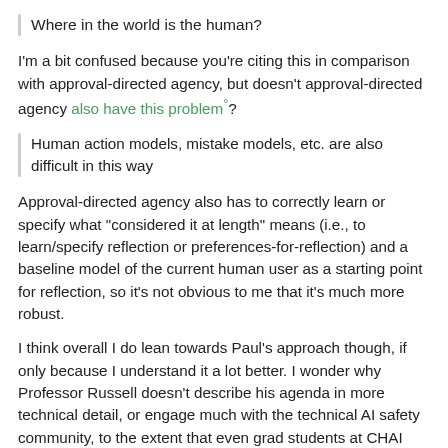Where in the world is the human?
I'm a bit confused because you're citing this in comparison with approval-directed agency, but doesn't approval-directed agency also have this problem°?
Human action models, mistake models, etc. are also difficult in this way
Approval-directed agency also has to correctly learn or specify what "considered it at length" means (i.e., to learn/specify reflection or preferences-for-reflection) and a baseline model of the current human user as a starting point for reflection, so it's not obvious to me that it's much more robust.
I think overall I do lean towards Paul's approach though, if only because I understand it a lot better. I wonder why Professor Russell doesn't describe his agenda in more technical detail, or engage much with the technical AI safety community, to the extent that even grad students at CHAI apparently° do not know much about his approach. (Edit: